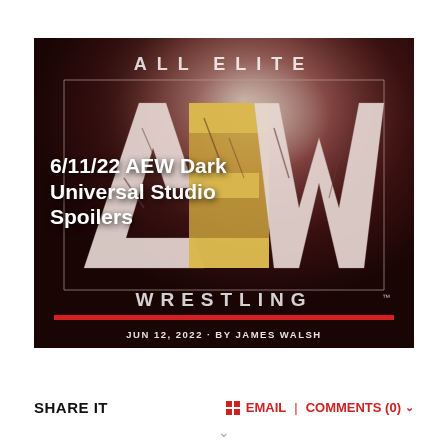[Figure (photo): AEW (All Elite Wrestling) logo image with dark reddish-brown smoky background. Large stylized 'AEW' letters in cracked white/gold texture. Text 'ALL ELITE' above and 'WRESTLING' below. Red horizontal bar near bottom. Date and author text: 'JUN 12, 2022 - BY JAMES WALSH']
6/11/22 AEW Dark Universal Studio Spoilers
SHARE IT
EMAIL | COMMENTS (0)